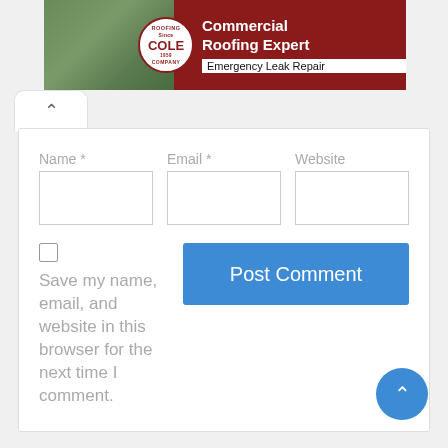[Figure (illustration): Advertisement banner for Cole Roofing Company showing a commercial building photo on the left, Cole Roofing Company logo circle, and text 'Commercial Roofing Expert' and 'Emergency Leak Repair' on dark red background]
Name *
Email *
Website
Save my name, email, and website in this browser for the next time I comment.
Post Comment